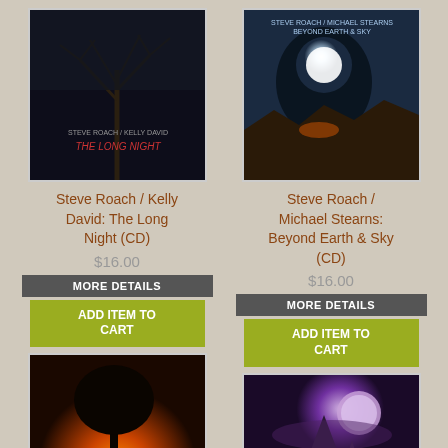[Figure (photo): Album cover: Steve Roach / Kelly David: The Long Night - dark trees against night sky]
Steve Roach / Kelly David: The Long Night (CD)
$16.00
MORE DETAILS
ADD ITEM TO CART
[Figure (photo): Album cover: Steve Roach / Michael Stearns: Beyond Earth & Sky - moonlit cave/canyon scene]
Steve Roach / Michael Stearns: Beyond Earth & Sky (CD)
$16.00
MORE DETAILS
ADD ITEM TO CART
[Figure (photo): Album cover: Nectar Meditation - Steve Roach / Serena Gabriel - sunset with silhouette tree]
Steve Roach / Serena Gabriel:
[Figure (photo): Album cover: Temple of the Waiting Dawn - Steve Roach / Serena Gabriel - rocky spire under moon]
Steve Roach / Serena Gabriel: